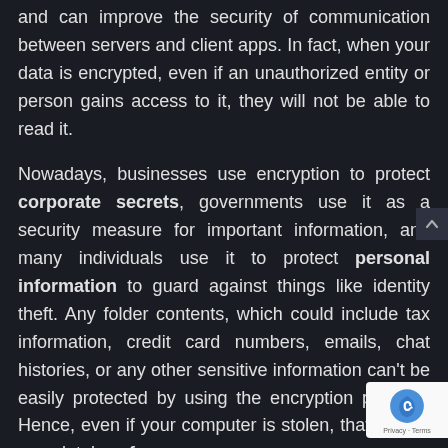and can improve the security of communication between servers and client apps. In fact, when your data is encrypted, even if an unauthorized entity or person gains access to it, they will not be able to read it.
Nowadays, businesses use encryption to protect corporate secrets, governments use it as a security measure for important information, and many individuals use it to protect personal information to guard against things like identity theft. Any folder contents, which could include tax information, credit card numbers, emails, chat histories, or any other sensitive information can't be easily protected by using the encryption process. Hence, even if your computer is stolen, that data is completely safe.
The process of encryption is fairly straightforward. In order to encrypt data, an encryption key uses an encryption algorithm to encode/translate plaintex...